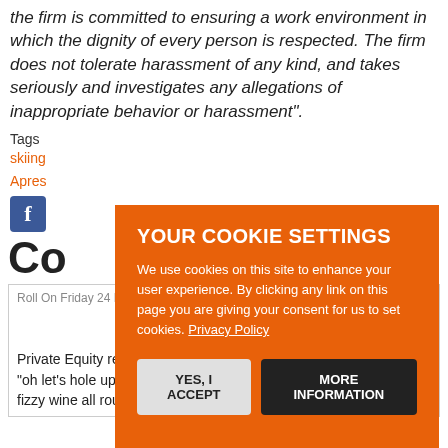the firm is committed to ensuring a work environment in which the dignity of every person is respected. The firm does not tolerate harassment of any kind, and takes seriously and investigates any allegations of inappropriate behavior or harassment".
Tags
skiing Apres
Co
Roll On Friday 24 March 16 08.24
468 463
Private Equity really is suffering a dearth of creativity these days "oh let's hole up in a hotel and err, we'll have champagne! yeah! fizzy wine all round"
[Figure (infographic): Cookie consent overlay on orange background with title YOUR COOKIE SETTINGS, body text about cookie usage, Privacy Policy link, and two buttons: YES, I ACCEPT and MORE INFORMATION]